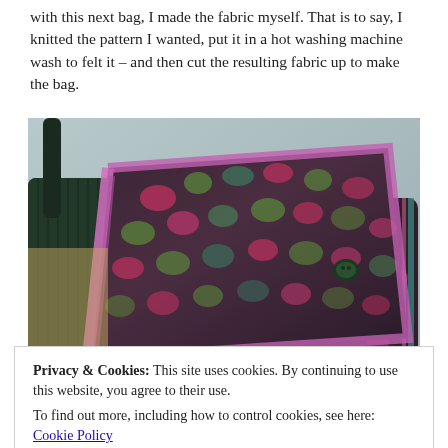with this next bag, I made the fabric myself. That is to say, I knitted the pattern I wanted, put it in a hot washing machine wash to felt it – and then cut the resulting fabric up to make the bag.
[Figure (photo): A felted knitted bag with colorful spots in pink, green, teal on dark purple/brown background, with pink and teal trim edges and a small dark button closure. Another similar bag visible in background.]
Privacy & Cookies: This site uses cookies. By continuing to use this website, you agree to their use.
To find out more, including how to control cookies, see here: Cookie Policy
fabric, featuring these terrifying knitting ladies